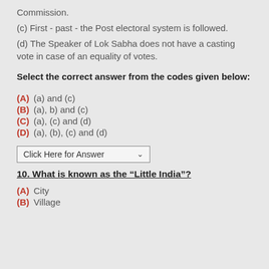Commission.
(c) First - past - the Post electoral system is followed.
(d) The Speaker of Lok Sabha does not have a casting vote in case of an equality of votes.
Select the correct answer from the codes given below:
(A) (a) and (c)
(B) (a), b) and (c)
(C) (a), (c) and (d)
(D) (a), (b), (c) and (d)
Click Here for Answer
10. What is known as the “Little India”?
(A) City
(B) Village